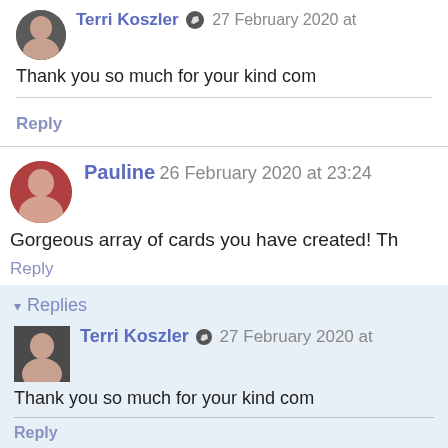Terri Koszler [edit icon] 27 February 2020 at
Thank you so much for your kind com
Reply
Pauline 26 February 2020 at 23:24
Gorgeous array of cards you have created! Th
Reply
▾ Replies
Terri Koszler [edit icon] 27 February 2020 at
Thank you so much for your kind com
Reply